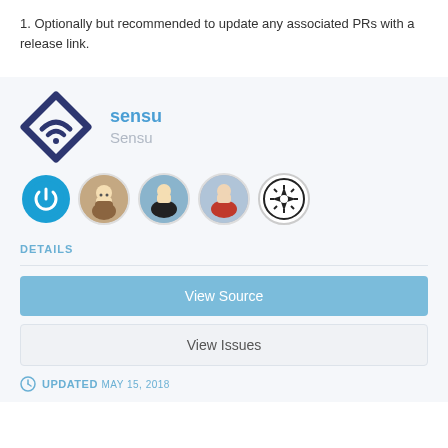1. Optionally but recommended to update any associated PRs with a release link.
[Figure (logo): Sensu diamond-shaped logo in dark navy/indigo color]
sensu
Sensu
[Figure (illustration): Row of 5 circular avatar icons: blue power button icon, bearded man photo, person with background photo, man in red shirt photo, star/gear emblem icon]
DETAILS
View Source
View Issues
UPDATED MAY 15, 2018